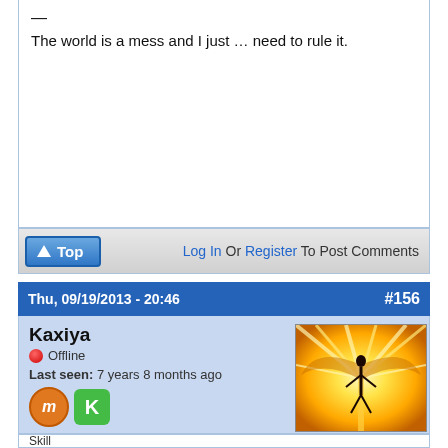—
The world is a mess and I just … need to rule it.
↑ Top   Log In Or Register To Post Comments
Thu, 09/19/2013 - 20:46   #156
Kaxiya
Offline
Last seen: 7 years 8 months ago
Joined: 08/24/2013 - 21:44
[Figure (illustration): Anime-style character silhouette surrounded by bright golden/yellow light rays, bird wings implied in the glow]
Skill